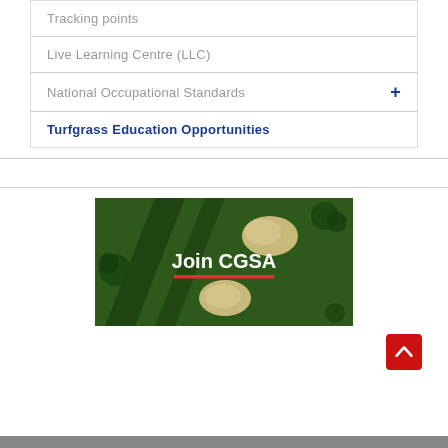Tracking points
Live Learning Centre (LLC)
National Occupational Standards +
Turfgrass Education Opportunities
[Figure (photo): Aerial view of a golf course with sand traps and trees, overlaid with white bold text 'Join CGSA' and a red underline]